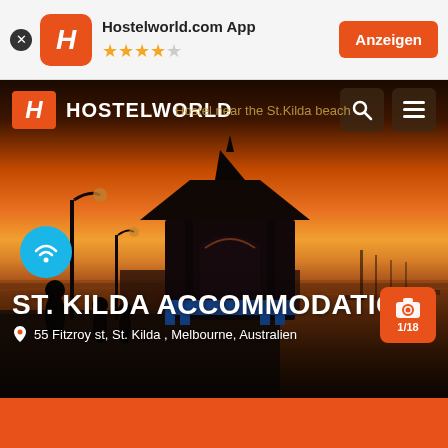[Figure (screenshot): Ad banner for Hostelworld.com App with orange H logo, 4.5 star rating, and Anzeigen button]
[Figure (photo): Sunset photo of St. Kilda pier/beach with silhouetted kiosk structure, people walking, boats in water, orange sky]
HOSTELWORLD
Hostel near the St.Kilda beach
ST. KILDA ACCOMMODATION
55 Fitzroy st, St. Kilda , Melbourne, Australien